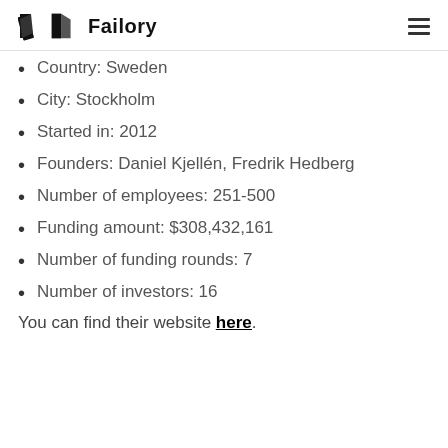Failory
Country: Sweden
City: Stockholm
Started in: 2012
Founders: Daniel Kjellén, Fredrik Hedberg
Number of employees: 251-500
Funding amount: $308,432,161
Number of funding rounds: 7
Number of investors: 16
You can find their website here.